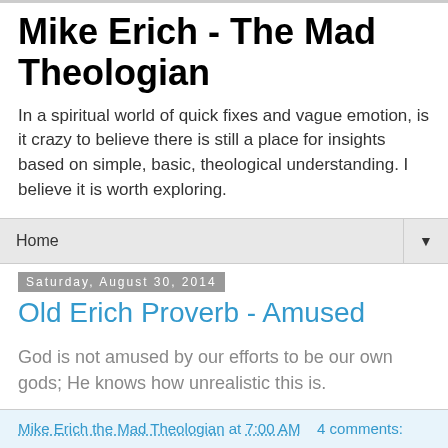Mike Erich - The Mad Theologian
In a spiritual world of quick fixes and vague emotion, is it crazy to believe there is still a place for insights based on simple, basic, theological understanding. I believe it is worth exploring.
Home
Saturday, August 30, 2014
Old Erich Proverb - Amused
God is not amused by our efforts to be our own gods; He knows how unrealistic this is.
Mike Erich the Mad Theologian at 7:00 AM   4 comments: